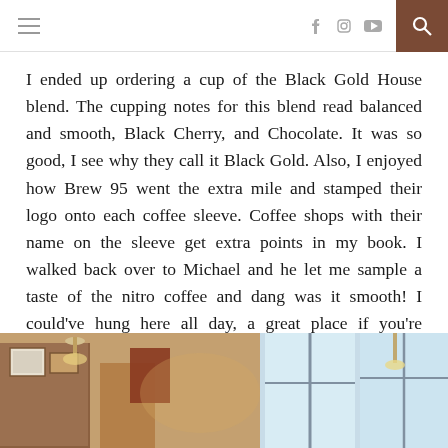navigation bar with hamburger menu, social icons (Facebook, Instagram, YouTube), and search button
I ended up ordering a cup of the Black Gold House blend. The cupping notes for this blend read balanced and smooth, Black Cherry, and Chocolate. It was so good, I see why they call it Black Gold. Also, I enjoyed how Brew 95 went the extra mile and stamped their logo onto each coffee sleeve. Coffee shops with their name on the sleeve get extra points in my book. I walked back over to Michael and he let me sample a taste of the nitro coffee and dang was it smooth! I could've hung here all day, a great place if you're looking to meet a friend, do homework, or go on a date. They even had some patio furniture outside for you to enjoy the beautiful day. I plan to come back here one day.
[Figure (photo): Interior of a coffee shop showing wooden decor, framed items on walls, pendant lights, and large windows]